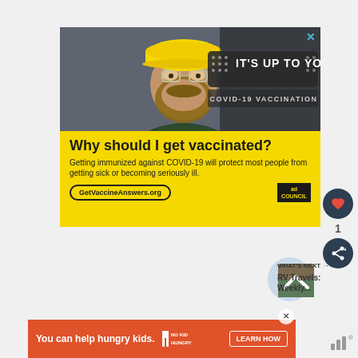[Figure (photo): Advertisement banner: Man in yellow hard hat and safety glasses in industrial setting. Dark overlay with text 'IT'S UP TO YOU' and 'COVID-19 VACCINATION']
Why should I get vaccinated?
Getting immunized against COVID-19 will protect most people from getting sick or becoming seriously ill.
GetVaccineAnswers.org
1
WHAT'S NEXT → RV Travels: Weekly...
You can help hungry kids.
LEARN HOW